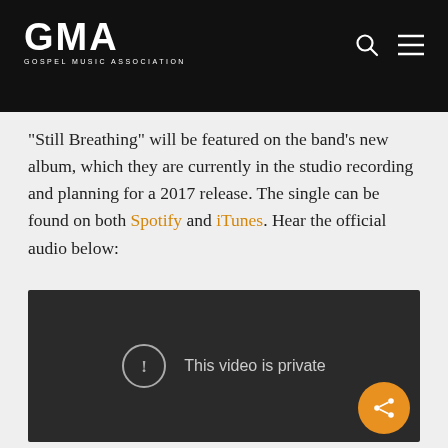GMA GOSPEL MUSIC ASSOCIATION
“Still Breathing” will be featured on the band’s new album, which they are currently in the studio recording and planning for a 2017 release. The single can be found on both Spotify and iTunes. Hear the official audio below:
[Figure (screenshot): Embedded video player showing 'This video is private' message with a dark background, a circle exclamation icon, and a share button in the bottom-right corner]